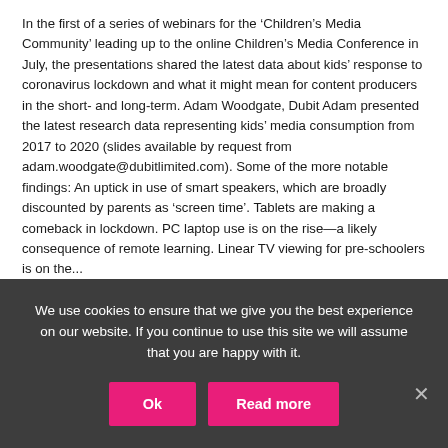In the first of a series of webinars for the ‘Children’s Media Community’ leading up to the online Children’s Media Conference in July, the presentations shared the latest data about kids’ response to coronavirus lockdown and what it might mean for content producers in the short- and long-term. Adam Woodgate, Dubit Adam presented the latest research data representing kids’ media consumption from 2017 to 2020 (slides available by request from adam.woodgate@dubitlimited.com). Some of the more notable findings: An uptick in use of smart speakers, which are broadly discounted by parents as ‘screen time’. Tablets are making a comeback in lockdown. PC laptop use is on the rise—a likely consequence of remote learning. Linear TV viewing for pre-schoolers is on the...
CMC Webinars
CMC 2020 Webinar Blog
We use cookies to ensure that we give you the best experience on our website. If you continue to use this site we will assume that you are happy with it.